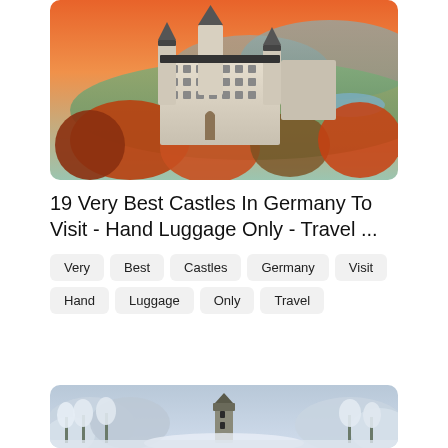[Figure (photo): Aerial view of Neuschwanstein Castle in autumn, surrounded by orange and red foliage with a green valley and mountains in the background]
19 Very Best Castles In Germany To Visit - Hand Luggage Only - Travel ...
Very
Best
Castles
Germany
Visit
Hand
Luggage
Only
Travel
[Figure (photo): Aerial view of a castle or tower surrounded by snow-covered forest trees in winter]